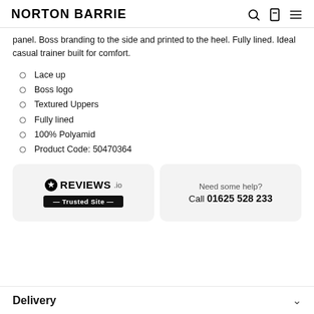NORTON BARRIE
panel. Boss branding to the side and printed to the heel. Fully lined. Ideal casual trainer built for comfort.
Lace up
Boss logo
Textured Uppers
Fully lined
100% Polyamid
Product Code: 50470364
[Figure (logo): REVIEWS.io Trusted Site badge with star icon and black banner]
Need some help? Call 01625 528 233
Delivery